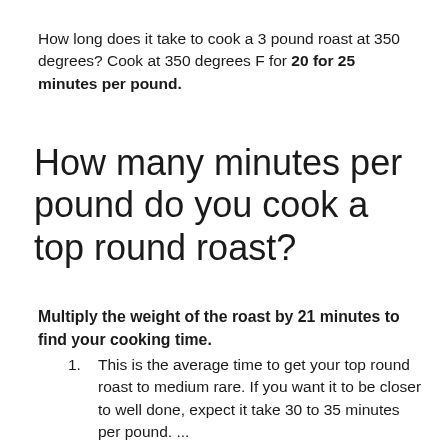How long does it take to cook a 3 pound roast at 350 degrees? Cook at 350 degrees F for 20 for 25 minutes per pound.
How many minutes per pound do you cook a top round roast?
Multiply the weight of the roast by 21 minutes to find your cooking time.
This is the average time to get your top round roast to medium rare. If you want it to be closer to well done, expect it take 30 to 35 minutes per pound. ...
The area continues time and...